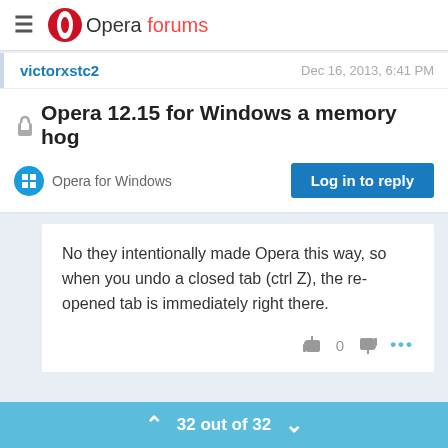Opera forums
victorxstc2   Dec 16, 2013, 6:41 PM
Opera 12.15 for Windows a memory hog
Opera for Windows   Log in to reply
No they intentionally made Opera this way, so when you undo a closed tab (ctrl Z), the re-opened tab is immediately right there.
32 out of 32